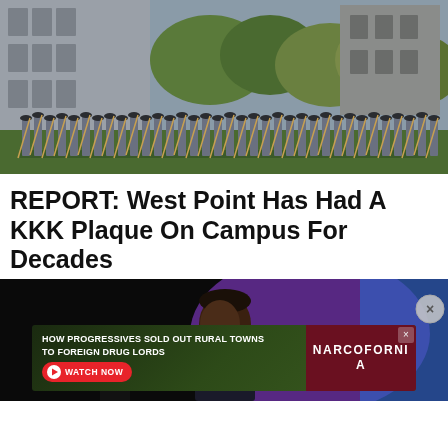[Figure (photo): Military cadets in gray uniforms standing in formation on a field in front of a stone building, with trees in the background.]
REPORT: West Point Has Had A KKK Plaque On Campus For Decades
[Figure (photo): A young Black man in a suit speaking at a podium, with a purple and blue background.]
[Figure (infographic): Advertisement banner: 'HOW PROGRESSIVES SOLD OUT RURAL TOWNS TO FOREIGN DRUG LORDS' with a NARCOFORNIA logo and a red WATCH NOW button.]